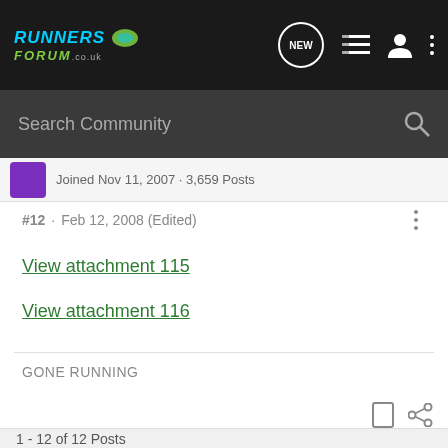Runners Forum .co.uk — Navigation bar with NEW, list, user, and more icons
Search Community
Joined Nov 11, 2007 · 3,659 Posts
#12 · Feb 12, 2008 (Edited)
View attachment 115
View attachment 116
GONE RUNNING
1 - 12 of 12 Posts